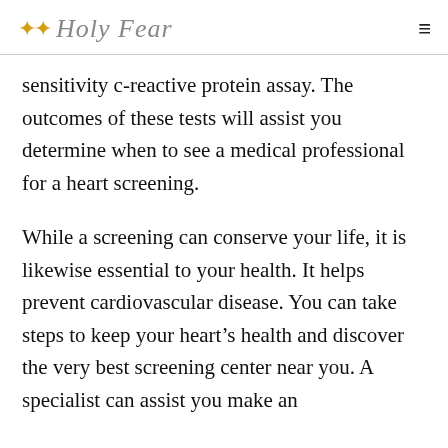✦✦ Holy Fear
sensitivity c-reactive protein assay. The outcomes of these tests will assist you determine when to see a medical professional for a heart screening.
While a screening can conserve your life, it is likewise essential to your health. It helps prevent cardiovascular disease. You can take steps to keep your heart's health and discover the very best screening center near you. A specialist can assist you make an